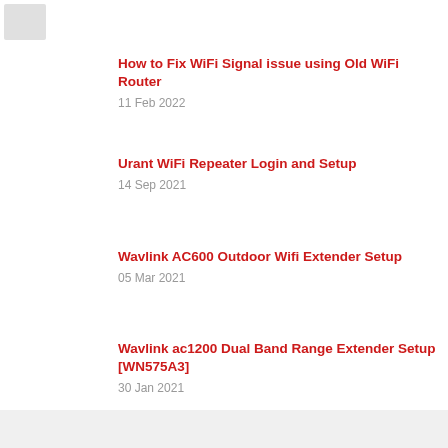[Figure (other): Small thumbnail image placeholder]
How to Fix WiFi Signal issue using Old WiFi Router
11 Feb 2022
Urant WiFi Repeater Login and Setup
14 Sep 2021
Wavlink AC600 Outdoor Wifi Extender Setup
05 Mar 2021
Wavlink ac1200 Dual Band Range Extender Setup [WN575A3]
30 Jan 2021